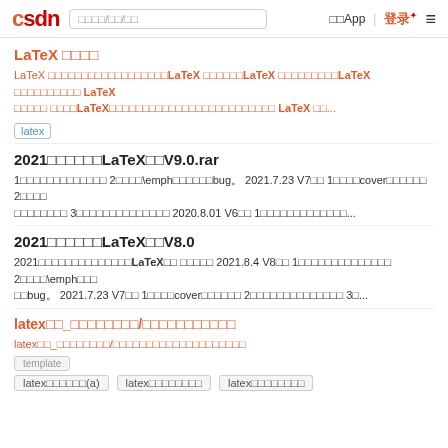CSDN | 搜索/用户/内容| 下载App | 登录 | ≡
LaTeX 简介目录
LaTeX 是一个文档准备系统有处理器的标记语言LaTeX 简介目录LaTeX 数学环境下的代码LaTeX 数学环境下的代码 LaTeX 数学环境下的代码 LaTeX 数学环境下的代码 简介LaTeX数学环境下的代码编写数学公式文档学习 LaTeX 使...
latex
2021年最新版中文LaTeX模板V9.0.rar
1本文档对之前写法做了改变 2本文档修复了\emph命令的两个bug。 2021.7.23 V7版 1增加了cover封面的三个选项 2修改了两个 内容的写法 3修改了三个无序列表项目的符号 2020.8.01 V6版 1修改了文档结构并精简了内容...
2021年最新版中文LaTeX模板V8.0
2021年最新版中文LaTeX模板V8.0 更新于 2021.8.4 V8版 1修改了文档结构并精简了内容 2修复了\emph命令的两个bug。 2021.7.23 V7版 1增加了cover封面的三个选项 2修改了两个内容的写法 3...
latex模板_简介目录/数学环境下的代码
latex模板_简介目录/数学环境下的代码文档学习使用
template
latex数学环境(a)
latex数学环境下
latex数学环境代码